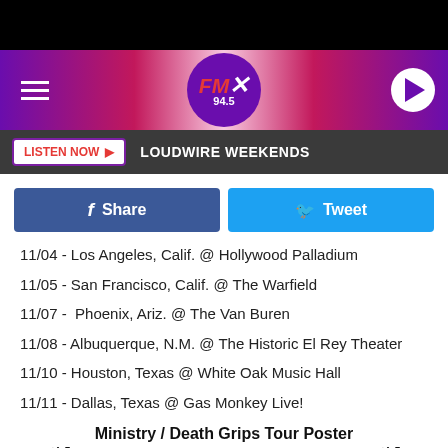[Figure (screenshot): FMX 94.5 radio station app header with hamburger menu, logo, and play button on purple/pink gradient background]
LISTEN NOW ▶  LOUDWIRE WEEKENDS
Share  Tweet
11/04 - Los Angeles, Calif. @ Hollywood Palladium
11/05 - San Francisco, Calif. @ The Warfield
11/07 -  Phoenix, Ariz. @ The Van Buren
11/08 - Albuquerque, N.M. @ The Historic El Rey Theater
11/10 - Houston, Texas @ White Oak Music Hall
11/11 - Dallas, Texas @ Gas Monkey Live!
Ministry / Death Grips Tour Poster
[Figure (illustration): Bottom portion of Ministry / Death Grips tour poster showing silhouette artwork]